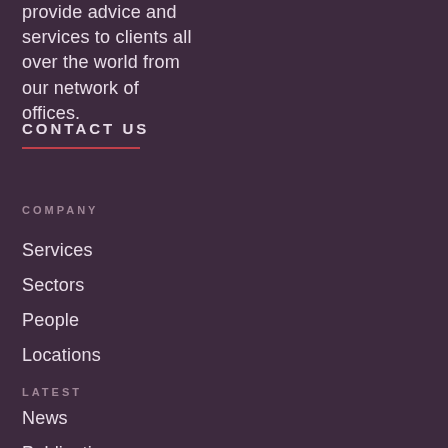provide advice and services to clients all over the world from our network of offices.
CONTACT US
COMPANY
Services
Sectors
People
Locations
LATEST
News
Publications